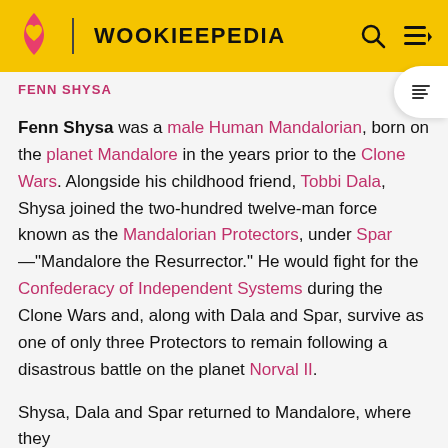WOOKIEEPEDIA
FENN SHYSA
Fenn Shysa was a male Human Mandalorian, born on the planet Mandalore in the years prior to the Clone Wars. Alongside his childhood friend, Tobbi Dala, Shysa joined the two-hundred twelve-man force known as the Mandalorian Protectors, under Spar—"Mandalore the Resurrector." He would fight for the Confederacy of Independent Systems during the Clone Wars and, along with Dala and Spar, survive as one of only three Protectors to remain following a disastrous battle on the planet Norval II.
Shysa, Dala and Spar returned to Mandalore, where they